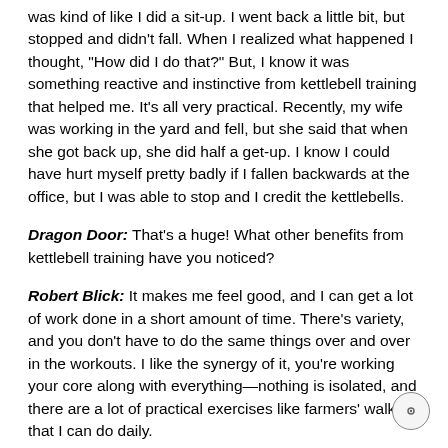was kind of like I did a sit-up. I went back a little bit, but stopped and didn't fall. When I realized what happened I thought, "How did I do that?" But, I know it was something reactive and instinctive from kettlebell training that helped me. It's all very practical. Recently, my wife was working in the yard and fell, but she said that when she got back up, she did half a get-up. I know I could have hurt myself pretty badly if I fallen backwards at the office, but I was able to stop and I credit the kettlebells.
Dragon Door: That's a huge! What other benefits from kettlebell training have you noticed?
Robert Blick: It makes me feel good, and I can get a lot of work done in a short amount of time. There's variety, and you don't have to do the same things over and over in the workouts. I like the synergy of it, you're working your core along with everything—nothing is isolated, and there are a lot of practical exercises like farmers' walks that I can do daily.
The training helps in everyday life. I had to lift my mother out of a wheel chair and it is now so easy for me to help her up. At first I was worried about lifting...